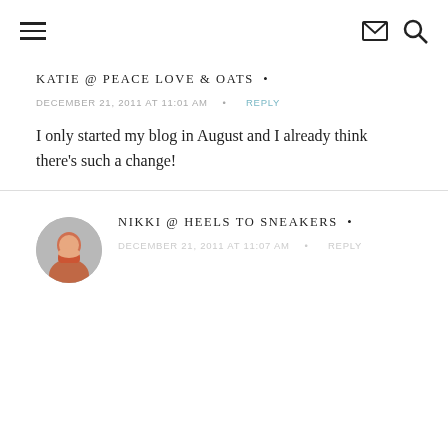Navigation header with hamburger menu, email icon, and search icon
KATIE @ PEACE LOVE & OATS
DECEMBER 21, 2011 AT 11:01 AM • REPLY
I only started my blog in August and I already think there's such a change!
[Figure (photo): Circular avatar photo of a person]
NIKKI @ HEELS TO SNEAKERS
DECEMBER 21, 2011 AT 11:07 AM • REPLY